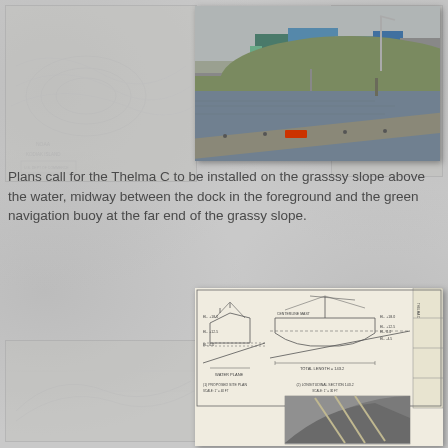[Figure (photo): Photograph showing a waterway with a dock or float in the foreground, a grassy slope curving around the water, and industrial buildings (including blue and green structures) in the background. Overcast sky.]
Plans call for the Thelma C to be installed on the grasssy slope above the water, midway between the dock in the foreground and the green navigation buoy at the far end of the grassy slope.
[Figure (engineering-diagram): Engineering/technical drawing showing cross-section and elevation views of a vessel or buoy installation, with a smaller inset photograph of the vessel hull.]